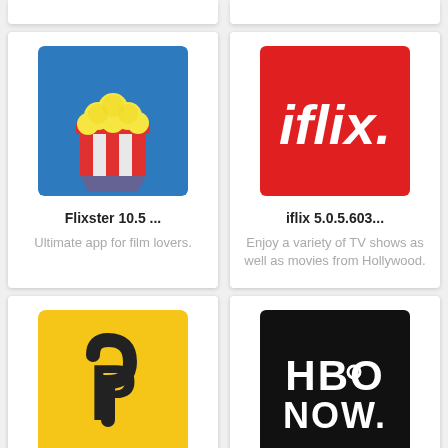[Figure (screenshot): Flixster app icon - blue background with popcorn bucket]
Flixster 10.5 ...
Ultimate app for film lovers.
[Figure (screenshot): iflix app icon - red background with iflix text in white italic]
iflix 5.0.5.603...
Enjoy a variety of TV shows as well as movies from Hollywood.
[Figure (screenshot): Smart Remote app icon - yellow background with loop/remote symbol]
Smart Remot...
Control all your home appliances with Infrared Blaster
[Figure (screenshot): HBO NOW app icon - black background with HBO NOW text in white]
HBO NOW: Str...
Stream thousands of movies and shows